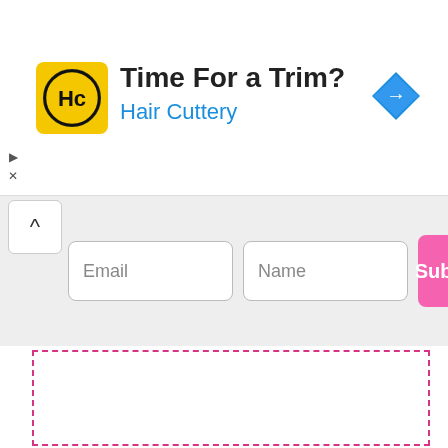[Figure (logo): Hair Cuttery advertisement banner with HC logo in yellow rounded square, text 'Time For a Trim?' and 'Hair Cuttery' in blue, and a blue diamond navigation icon on the right]
[Figure (screenshot): Email subscription widget with Email input field, Name input field, and pink Subscribe button, with a chevron-up button on the left]
[Figure (other): Empty content area outlined with pink dashed border rectangle]